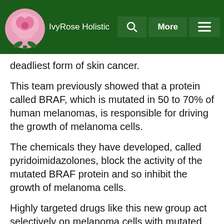IvyRose Holistic
deadliest form of skin cancer.
This team previously showed that a protein called BRAF, which is mutated in 50 to 70% of human melanomas, is responsible for driving the growth of melanoma cells.
The chemicals they have developed, called pyridoimidazolones, block the activity of the mutated BRAF protein and so inhibit the growth of melanoma cells.
Highly targeted drugs like this new group act selectively on melanoma cells with mutated BRAF.
Treatments like this will lead to fewer side effects and should be more effective at stopping and killing cancer.
Lead author Professor Caroline Springer, from the ICR, said:
"In our studies on cells from human cancer samples,